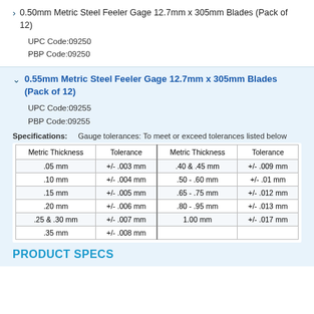0.50mm Metric Steel Feeler Gage 12.7mm x 305mm Blades (Pack of 12)
UPC Code:09250
PBP Code:09250
0.55mm Metric Steel Feeler Gage 12.7mm x 305mm Blades (Pack of 12)
UPC Code:09255
PBP Code:09255
Specifications: Gauge tolerances: To meet or exceed tolerances listed below
| Metric Thickness | Tolerance | Metric Thickness | Tolerance |
| --- | --- | --- | --- |
| .05 mm | +/- .003 mm | .40 & .45 mm | +/- .009 mm |
| .10 mm | +/- .004 mm | .50 - .60 mm | +/- .01 mm |
| .15 mm | +/- .005 mm | .65 - .75 mm | +/- .012 mm |
| .20 mm | +/- .006 mm | .80 - .95 mm | +/- .013 mm |
| .25 & .30 mm | +/- .007 mm | 1.00 mm | +/- .017 mm |
| .35 mm | +/- .008 mm |  |  |
PRODUCT SPECS